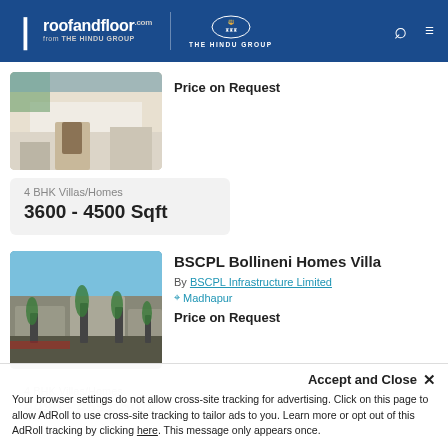roofandfloor.com | THE HINDU GROUP
[Figure (photo): Partial view of a villa/home listing photo showing a white multi-storey building with arch details]
Price on Request
4 BHK Villas/Homes
3600 - 4500 Sqft
[Figure (photo): Modern villa complex with palm trees and driveway, blue sky background]
BSCPL Bollineni Homes Villa
By BSCPL Infrastructure Limited
Madhapur
Price on Request
4 BHK Villas/Homes
4496 - 4691 Sqft
Accept and Close ✕
Your browser settings do not allow cross-site tracking for advertising. Click on this page to allow AdRoll to use cross-site tracking to tailor ads to you. Learn more or opt out of this AdRoll tracking by clicking here. This message only appears once.